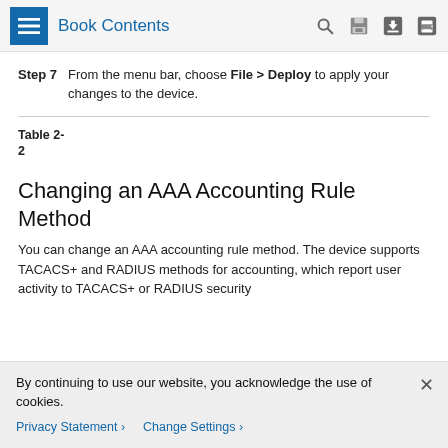Book Contents
Step 7 From the menu bar, choose File > Deploy to apply your changes to the device.
Table 2-2
Changing an AAA Accounting Rule Method
You can change an AAA accounting rule method. The device supports TACACS+ and RADIUS methods for accounting, which report user activity to TACACS+ or RADIUS security
By continuing to use our website, you acknowledge the use of cookies.
Privacy Statement > Change Settings >